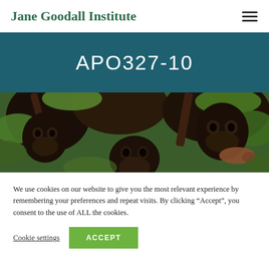Jane Goodall Institute
APO327-10
[Figure (photo): Close-up photograph of a chimpanzee face and upper body surrounded by green foliage and tree branches]
We use cookies on our website to give you the most relevant experience by remembering your preferences and repeat visits. By clicking “Accept”, you consent to the use of ALL the cookies.
Cookie settings  ACCEPT